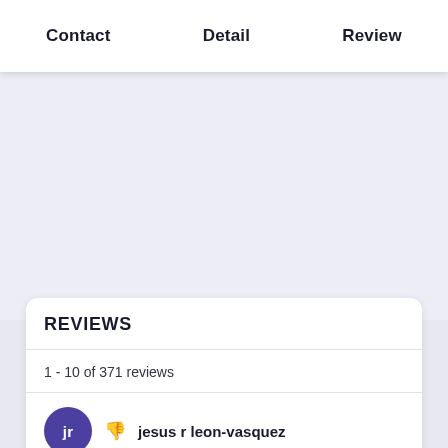Contact   Detail   Review
REVIEWS
1 - 10 of 371 reviews
jr  👎  jesus r leon-vasquez